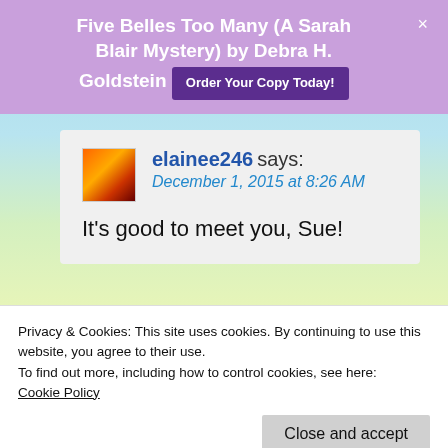Five Belles Too Many (A Sarah Blair Mystery) by Debra H. Goldstein
elainee246 says:
December 1, 2015 at 8:26 AM
It's good to meet you, Sue!
Privacy & Cookies: This site uses cookies. By continuing to use this website, you agree to their use.
To find out more, including how to control cookies, see here:
Cookie Policy
congrats on being fan of the month. 🙂